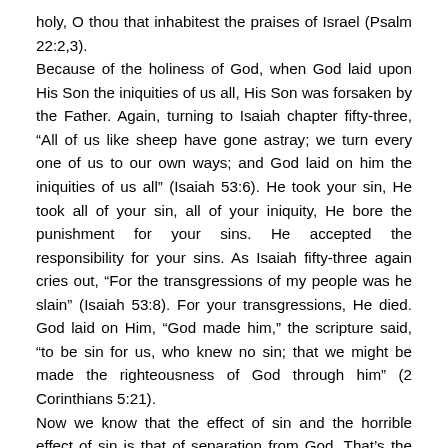holy, O thou that inhabitest the praises of Israel (Psalm 22:2,3). Because of the holiness of God, when God laid upon His Son the iniquities of us all, His Son was forsaken by the Father. Again, turning to Isaiah chapter fifty-three, “All of us like sheep have gone astray; we turn every one of us to our own ways; and God laid on him the iniquities of us all” (Isaiah 53:6). He took your sin, He took all of your sin, all of your iniquity, He bore the punishment for your sins. He accepted the responsibility for your sins. As Isaiah fifty-three again cries out, “For the transgressions of my people was he slain” (Isaiah 53:8). For your transgressions, He died. God laid on Him, “God made him,” the scripture said, “to be sin for us, who knew no sin; that we might be made the righteousness of God through him” (2 Corinthians 5:21). Now we know that the effect of sin and the horrible effect of sin is that of separation from God. That’s the result of sin. “The soul that sinneth, it shall surely die” (Ezekiel 18:4). Spiritually die. It’s a separation from God. When Adam sinned, he died spiritually, he was separated from God. God said, Adam, where art thou? The sin caused the breach, the separation. The prophet Isaiah said, “God’s hand is not short,